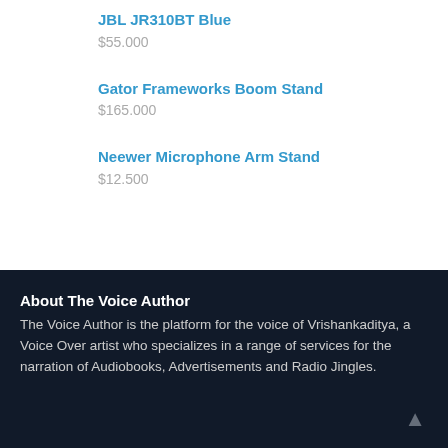JBL JR310BT Blue
$55.000
Gator Frameworks Boom Stand
$165.000
Neewer Microphone Arm Stand
$12.500
About The Voice Author
The Voice Author is the platform for the voice of Vrishankaditya, a Voice Over artist who specializes in a range of services for the narration of Audiobooks, Advertisements and Radio Jingles.